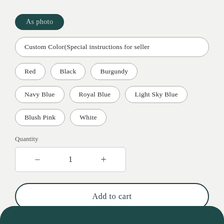As photo
Custom Color(Special instructions for seller
Red
Black
Burgundy
Navy Blue
Royal Blue
Light Sky Blue
Blush Pink
White
Quantity
— 1 +
Add to cart